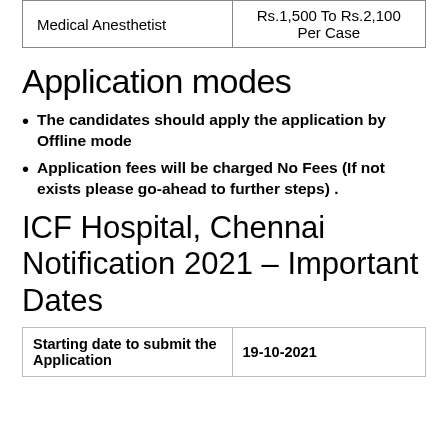|  |  |
| --- | --- |
| Medical Anesthetist | Rs.1,500 To Rs.2,100 Per Case |
Application modes
The candidates should apply the application by Offline mode
Application fees will be charged No Fees (If not exists please go-ahead to further steps) .
ICF Hospital, Chennai Notification 2021 – Important Dates
| Starting date to submit the Application | 19-10-2021 |
| --- | --- |